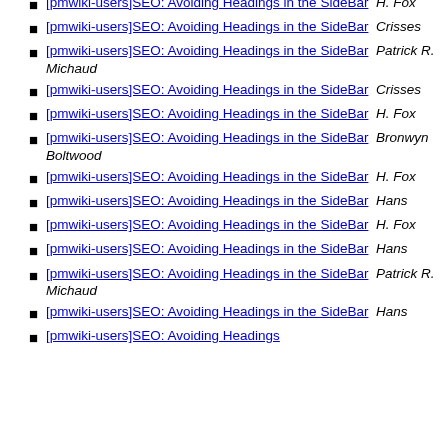[pmwiki-users]SEO: Avoiding Headings in the SideBar  H. Fox
[pmwiki-users]SEO: Avoiding Headings in the SideBar  Crisses
[pmwiki-users]SEO: Avoiding Headings in the SideBar  Patrick R. Michaud
[pmwiki-users]SEO: Avoiding Headings in the SideBar  Crisses
[pmwiki-users]SEO: Avoiding Headings in the SideBar  H. Fox
[pmwiki-users]SEO: Avoiding Headings in the SideBar  Bronwyn Boltwood
[pmwiki-users]SEO: Avoiding Headings in the SideBar  H. Fox
[pmwiki-users]SEO: Avoiding Headings in the SideBar  Hans
[pmwiki-users]SEO: Avoiding Headings in the SideBar  H. Fox
[pmwiki-users]SEO: Avoiding Headings in the SideBar  Hans
[pmwiki-users]SEO: Avoiding Headings in the SideBar  Patrick R. Michaud
[pmwiki-users]SEO: Avoiding Headings in the SideBar  Hans
[pmwiki-users]SEO: Avoiding Headings in the SideBar